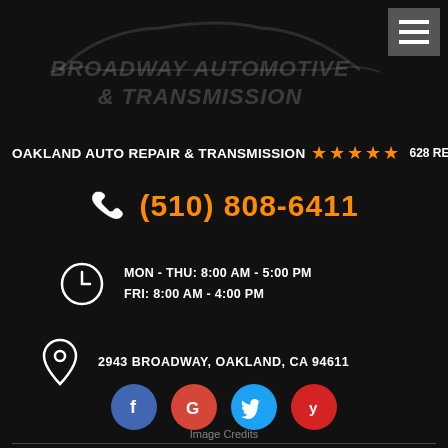[Figure (logo): Car silhouette outline at top, faint dark gray]
BROADWAY AUTOMOTIVE & TRANSMISSION
OAKLAND AUTO REPAIR & TRANSMISSION ★★★★★ 628 REVIEWS
(510) 808-6411
MON - THU: 8:00 AM - 5:00 PM
FRI: 8:00 AM - 4:00 PM
2943 BROADWAY, OAKLAND, CA 94611
[Figure (illustration): Social media icons: Facebook (blue), Google (red), Twitter (light blue), Yelp (red)]
Image Credits